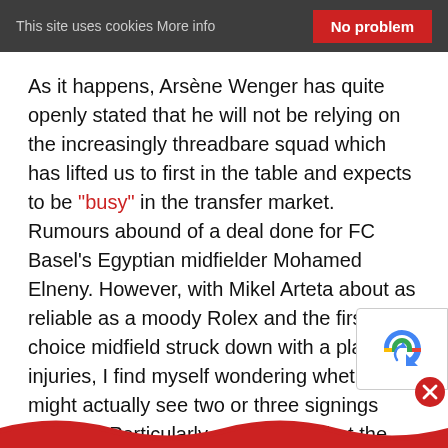This site uses cookies More info   No problem
As it happens, Arsène Wenger has quite openly stated that he will not be relying on the increasingly threadbare squad which has lifted us to first in the table and expects to be "busy" in the transfer market. Rumours abound of a deal done for FC Basel's Egyptian midfielder Mohamed Elneny. However, with Mikel Arteta about as reliable as a moody Rolex and the first choice midfield struck down with a plague of injuries, I find myself wondering whether we might actually see two or three signings come in. Particularly as it seems that the search for Welbeck and Wilshere may be about to be called off for this season. Then you factor in the fact that Arteta, Flamini and Rosicky may be off to the great gig in the sky, at least as far as Arsenal is concerned, this summ